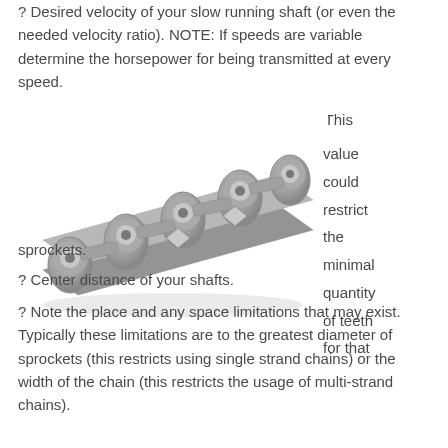? Desired velocity of your slow running shaft (or even the needed velocity ratio). NOTE: If speeds are variable determine the horsepower for being transmitted at every speed.
? Diameters of the drive and driven shafts . . . This value could restrict the minimal quantity of teeth for that sprockets.
[Figure (photo): A close-up photograph of a roller chain segment, showing the links, pins, plates, and rollers in metallic gray finish.]
? Center distance of your shafts.
? Note the place and any space limitations that may exist. Typically these limitations are to the greatest diameter of sprockets (this restricts using single strand chains) or the width of the chain (this restricts the usage of multi-strand chains).